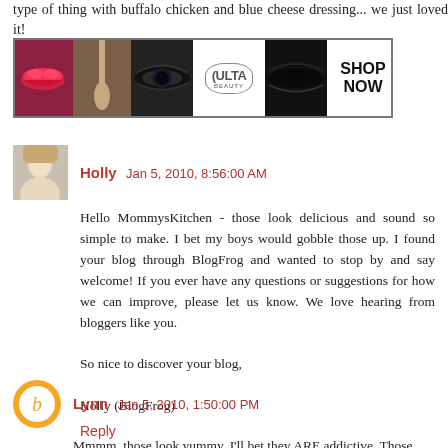type of thing with buffalo chicken and blue cheese dressing... we just loved it!
[Figure (photo): ULTA Beauty advertisement banner with makeup imagery and 'SHOP NOW' call to action]
Holly  Jan 5, 2010, 8:56:00 AM

Hello MommysKitchen - those look delicious and sound so simple to make. I bet my boys would gobble those up. I found your blog through BlogFrog and wanted to stop by and say welcome! If you ever have any questions or suggestions for how we can improve, please let us know. We love hearing from bloggers like you.

So nice to discover your blog,

Holly (BlogFrog)

Reply
Lynn  Jan 5, 2010, 1:50:00 PM

Mmmm, those look yummy. I'll bet they ARE addictive. Those